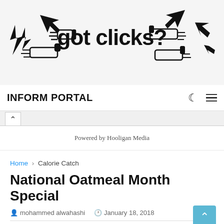[Figure (illustration): Banner ad with cursor/hand icons and text 'got clicks?' in a decorative style]
INFORM PORTAL
Powered by Hooligan Media
Home › Calorie Catch
National Oatmeal Month Special
mohammed alwahashi   January 18, 2018   0
Celebrate National Oatmeal Month this January with